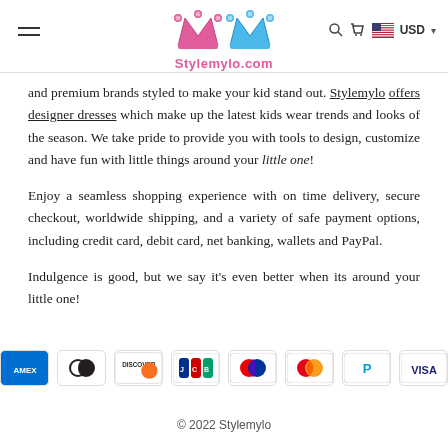Stylemylo.com
and premium brands styled to make your kid stand out. Stylemylo offers designer dresses which make up the latest kids wear trends and looks of the season. We take pride to provide you with tools to design, customize and have fun with little things around your little one!
Enjoy a seamless shopping experience with on time delivery, secure checkout, worldwide shipping, and a variety of safe payment options, including credit card, debit card, net banking, wallets and PayPal.
Indulgence is good, but we say it's even better when its around your little one!
[Figure (other): Payment method icons: AMEX, Diners Club, Discover, JCB, Maestro, Mastercard, PayPal, VISA]
© 2022 Stylemylo